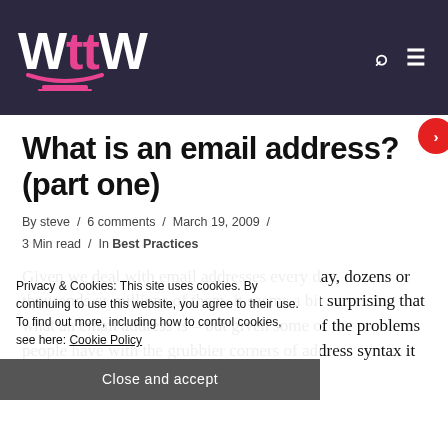[Figure (logo): WttW website logo in white and pink on dark navy background, with a laptop underline icon]
What is an email address? (part one)
By steve / 6 comments / March 19, 2009 / 3 Min read / In Best Practices
Given we deal with email addresses every day, dozens or thousands or millions of them, it seems a bit surprising that what an email address is – but given some of the problems people have with the grubbier corners of address syntax it seems an interesting question.
Privacy & Cookies: This site uses cookies. By continuing to use this website, you agree to their use. To find out more, including how to control cookies, see here: Cookie Policy Close and accept